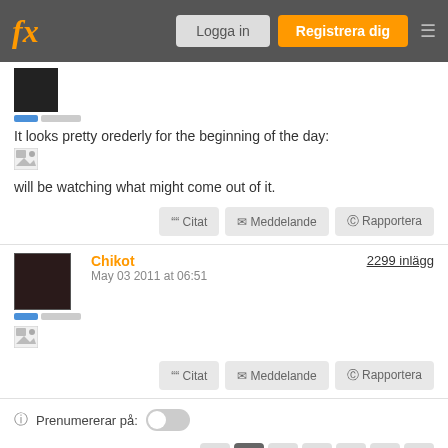fx | Logga in | Registrera dig
It looks pretty orederly for the beginning of the day:
[Figure (photo): Broken image placeholder]
will be watching what might come out of it.
Citat | Meddelande | Rapportera
Chikot | May 03 2011 at 06:51 | 2299 inlägg
[Figure (photo): Broken image placeholder]
Citat | Meddelande | Rapportera
Prenumererar på:
< 1 2 ... 90 91 >